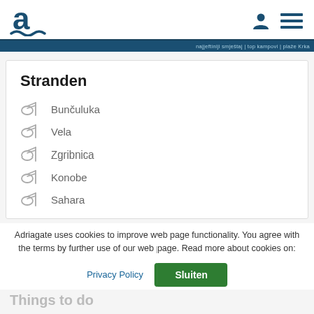[Figure (logo): Adriagate logo: stylized letter 'a' with wave underline in dark teal/navy]
Adriagate website header with user and menu icons
Stranden
Bunčuluka
Vela
Zgribnica
Konobe
Sahara
Adriagate uses cookies to improve web page functionality. You agree with the terms by further use of our web page. Read more about cookies on:
Privacy Policy   Sluiten
Things to do